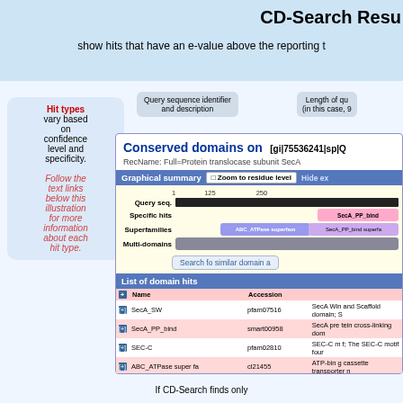CD-Search Resu
show hits that have an e-value above the reporting t
Query sequence identifier and description
Length of qu (in this case, 9
Hit types vary based on confidence level and specificity.
Follow the text links below this illustration for more information about each hit type.
[Figure (screenshot): CD-Search Results panel showing Conserved domains on [gi|75536241|sp|Q...], RecName: Full=Protein translocase subunit SecA, with Graphical summary showing query sequence ruler, Specific hits (SecA_PP_bind), Superfamilies (ABC_ATPase superfam, SecA_PP_bind superfa), Multi-domains bar, Search for similar domain button, and List of domain hits table with entries SecA_SW, SecA_PP_bind, SEC-C, ABC_ATPase super fa, HELICc, PRK12904]
If CD-Search finds only